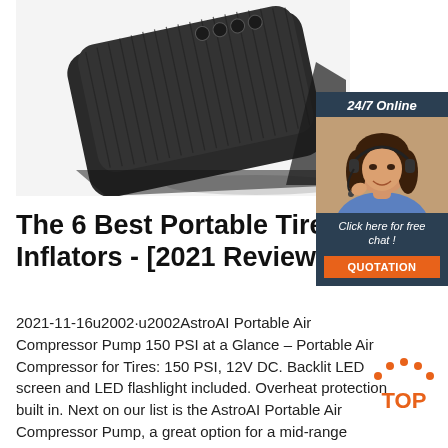[Figure (photo): Black portable tire inflator / air compressor pump device viewed from above at an angle, showing ribbed/textured surface and button controls on top]
[Figure (other): 24/7 Online chat widget with a woman wearing a headset, 'Click here for free chat!' text and an orange 'QUOTATION' button]
The 6 Best Portable Tire Inflators - [2021 Reviews]
2021-11-16u2002·u2002AstroAI Portable Air Compressor Pump 150 PSI at a Glance – Portable Air Compressor for Tires: 150 PSI, 12V DC. Backlit LED screen and LED flashlight included. Overheat protection built in. Next on our list is the AstroAI Portable Air Compressor Pump, a great option for a mid-range emergency tire inflator.
[Figure (logo): Orange and dark 'TOP' badge/logo with dotted arc above the text]